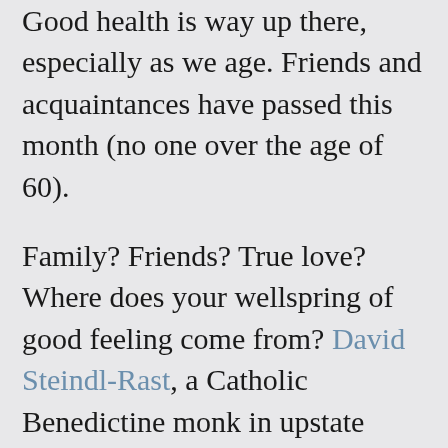Good health is way up there, especially as we age. Friends and acquaintances have passed this month (no one over the age of 60).
Family? Friends? True love? Where does your wellspring of good feeling come from? David Steindl-Rast, a Catholic Benedictine monk in upstate New York, says this: “We all know people who have lots of